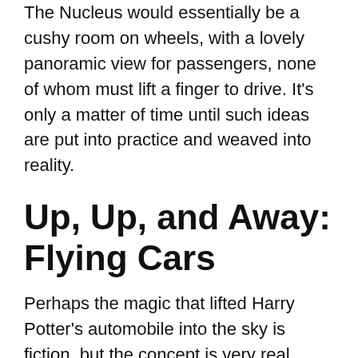The Nucleus would essentially be a cushy room on wheels, with a lovely panoramic view for passengers, none of whom must lift a finger to drive. It's only a matter of time until such ideas are put into practice and weaved into reality.
Up, Up, and Away: Flying Cars
Perhaps the magic that lifted Harry Potter's automobile into the sky is fiction, but the concept is very real. There are a host of logistical problems when it comes to the development of flying cars, such as requiring a pilot's license, configuring air traffic, and building a vehicle that is just as smooth on the ground as it is in the air. Despite these